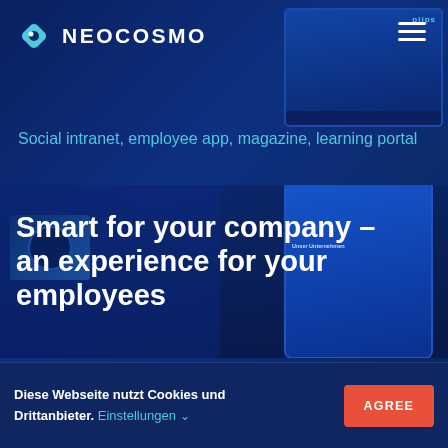[Figure (screenshot): NEOCOSMO website screenshot showing dark blue background with logo, navigation, tagline, headline text overlaid on device mockups, and a cookie consent bar at the bottom.]
NEOCOSMO
Social intranet, employee app, magazine, learning portal
Smart for your company – an experience for your employees
The NEOCOSMO platform PIIPE offers
Diese Webseite nutzt Cookies und Drittanbieter. Einstellungen
AGREE